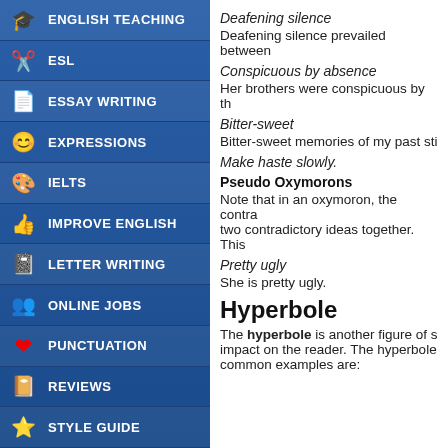ENGLISH TEACHING
ESL
ESSAY WRITING
EXPRESSIONS
IELTS
IMPROVE ENGLISH
LETTER WRITING
ONLINE JOBS
PUNCTUATION
REVIEWS
STYLE GUIDE
Deafening silence
Deafening silence prevailed between
Conspicuous by absence
Her brothers were conspicuous by th
Bitter-sweet
Bitter-sweet memories of my past sti
Make haste slowly.
Pseudo Oxymorons
Note that in an oxymoron, the contra two contradictory ideas together. This
Pretty ugly
She is pretty ugly.
Hyperbole
The hyperbole is another figure of s impact on the reader. The hyperbole common examples are: